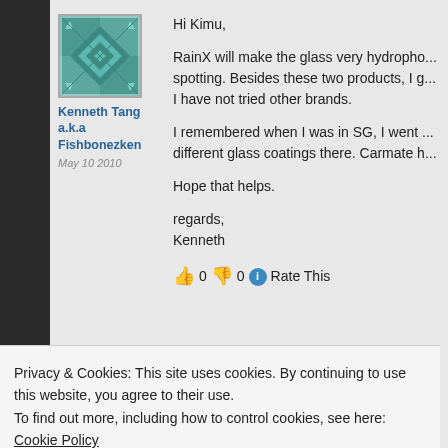[Figure (illustration): Avatar/profile image with teal quilt/geometric pattern for Kenneth Tang]
Kenneth Tang a.k.a Fishbonezken
May 10 2010
Hi Kimu,

RainX will make the glass very hydropho... spotting. Besides these two products, I g... I have not tried other brands.

I remembered when I was in SG, I went ... different glass coatings there. Carmate h...

Hope that helps.

regards,
Kenneth
👍 0 👎 0 ℹ Rate This
Privacy & Cookies: This site uses cookies. By continuing to use this website, you agree to their use.
To find out more, including how to control cookies, see here: Cookie Policy
Close and accept